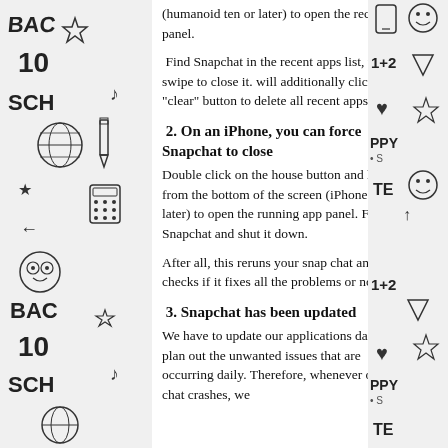[Figure (illustration): Black and white doodle illustration on left margin with back-to-school themed drawings: backpacks, globes, pencils, stars, musical notes, calculators, text 'BACK', '10', 'SCH', 'BAC', 'SCH']
(humanoid ten or later) to open the recent app panel.
Find Snapchat in the recent apps list, then swipe to close it. will additionally click on the "clear" button to delete all recent apps.
2. On an iPhone, you can force Snapchat to close
Double click on the house button and hold it from the bottom of the screen (iPhone X or later) to open the running app panel. Find Snapchat and shut it down.
After all, this reruns your snap chat and checks if it fixes all the problems or not.
3. Snapchat has been updated
We have to update our applications daily to plan out the unwanted issues that are occurring daily. Therefore, whenever our snap chat crashes, we
[Figure (illustration): Black and white doodle illustration on right margin with school/fun themed drawings: hearts, stars, smiley faces, '1+2', triangles, 'PPY', 'SCH', 'TE']